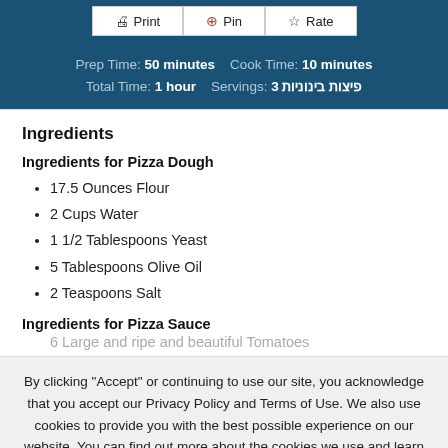Print | Pin | Rate
Prep Time: 50 minutes  Cook Time: 10 minutes
Total Time: 1 hour  Servings: 3 פיצות בינוניות
Ingredients
Ingredients for Pizza Dough
17.5 Ounces Flour
2 Cups Water
1 1/2 Tablespoons Yeast
5 Tablespoons Olive Oil
2 Teaspoons Salt
Ingredients for Pizza Sauce
6 Large and ripe and beautiful Tomatoes (cut off/partially visible)
By clicking "Accept" or continuing to use our site, you acknowledge that you accept our Privacy Policy and Terms of Use. We also use cookies to provide you with the best possible experience on our website. You can find out more about the cookies we use and learn how to manage them here. Feel free to check out our policies anytime for more information.